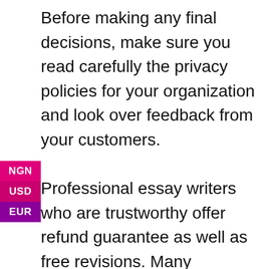Before making any final decisions, make sure you read carefully the privacy policies for your organization and look over feedback from your customers.

Professional essay writers who are trustworthy offer refund guarantee as well as free revisions. Many additional services are also offered by reliable companies, such as a plagiarism report or customizing the formatting for various styles. Also, they have customer service personnel available to help for any